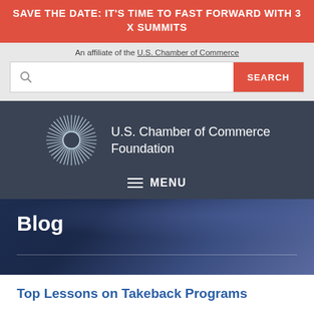SAVE THE DATE: IT'S TIME TO FAST FORWARD WITH 3 X SUMMITS
An affiliate of the U.S. Chamber of Commerce
[Figure (logo): U.S. Chamber of Commerce Foundation logo with radial sunburst design and organization name]
≡ MENU
Blog
Top Lessons on Takeback Programs